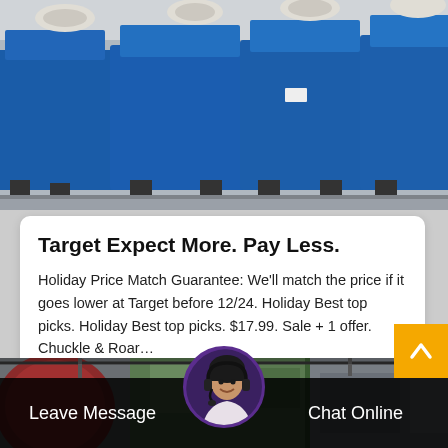[Figure (photo): Industrial blue metal hoppers/containers in a factory or warehouse setting, viewed from ground level]
Target Expect More. Pay Less.
Holiday Price Match Guarantee: We'll match the price if it goes lower at Target before 12/24. Holiday Best top picks. Holiday Best top picks. $17.99. Sale + 1 offer. Chuckle & Roar...
[Figure (photo): Industrial machinery with green and red metal components in a factory setting]
[Figure (photo): Customer service agent avatar circle with headset, purple border]
Leave Message
Chat Online